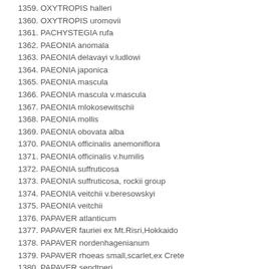1359. OXYTROPIS halleri
1360. OXYTROPIS uromovii
1361. PACHYSTEGIA rufa
1362. PAEONIA anomala
1363. PAEONIA delavayi v.ludlowi
1364. PAEONIA japonica
1365. PAEONIA mascula
1366. PAEONIA mascula v.mascula
1367. PAEONIA mlokosewitschii
1368. PAEONIA mollis
1369. PAEONIA obovata alba
1370. PAEONIA officinalis anemoniflora
1371. PAEONIA officinalis v.humilis
1372. PAEONIA suffruticosa
1373. PAEONIA suffruticosa, rockii group
1374. PAEONIA veitchii v.beresowskyi
1375. PAEONIA veitchii
1376. PAPAVER atlanticum
1377. PAPAVER fauriei ex Mt.Risri,Hokkaido
1378. PAPAVER nordenhagenianum
1379. PAPAVER rhoeas small,scarlet,ex Crete
1380. PAPAVER sendtneri
1381. PARADISEA liliastrum /W/G/
1382. PARADISEA lusitanica
1383. PARAHEBE decora
1384. PARAHEBE lyallii
1385. PARAHEBE perfoliata
1386. PARIS polyphylla
1387. PARIS polyfolia /W/G/